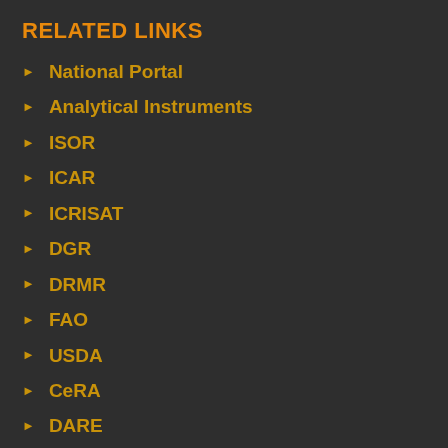RELATED LINKS
National Portal
Analytical Instruments
ISOR
ICAR
ICRISAT
DGR
DRMR
FAO
USDA
CeRA
DARE
IISR
KRISHI portal